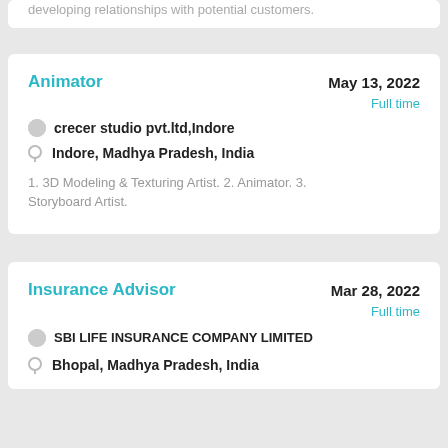developing relationships with potential customers.
Animator
May 13, 2022
Full time
crecer studio pvt.ltd,Indore
Indore, Madhya Pradesh, India
1. 3D Modeling &  Texturing Artist. 2. Animator. 3. Storyboard Artist.
Insurance Advisor
Mar 28, 2022
Full time
SBI LIFE INSURANCE COMPANY LIMITED
Bhopal, Madhya Pradesh, India